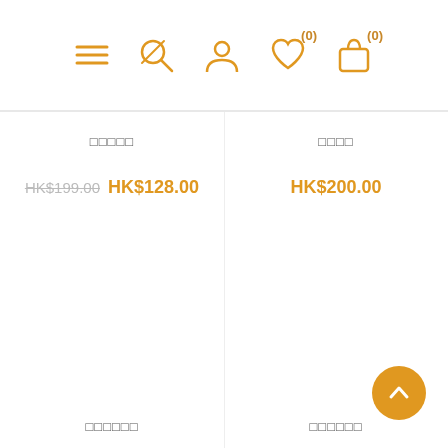[Figure (screenshot): Mobile e-commerce app header with navigation icons: hamburger menu, search, account, wishlist with (0) badge, and shopping bag with (0) badge, all in orange outline style]
□□□□□
□□□□
HK$199.00 HK$128.00
HK$200.00
□□□□□□
□□□□□□